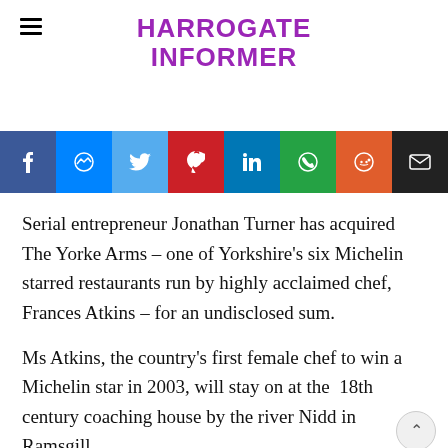HARROGATE INFORMER
[Figure (infographic): Social sharing buttons bar with icons for Facebook, Messenger, Twitter, Pinterest, LinkedIn, WhatsApp, Reddit, and Email]
Serial entrepreneur Jonathan Turner has acquired The Yorke Arms – one of Yorkshire's six Michelin starred restaurants run by highly acclaimed chef, Frances Atkins – for an undisclosed sum.
Ms Atkins, the country's first female chef to win a Michelin star in 2003, will stay on at the  18th century coaching house by the river Nidd in Ramsgill